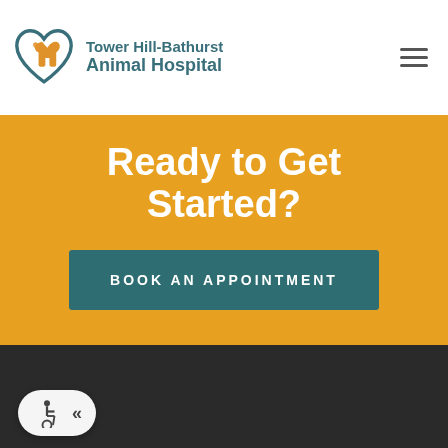[Figure (logo): Tower Hill-Bathurst Animal Hospital logo with teal heart shape containing orange dog and cat silhouettes, and teal text reading 'Tower Hill-Bathurst Animal Hospital']
Ready to Get Started?
BOOK AN APPOINTMENT
[Figure (other): Dark footer section with accessibility widget showing a wheelchair icon and chevron arrows]